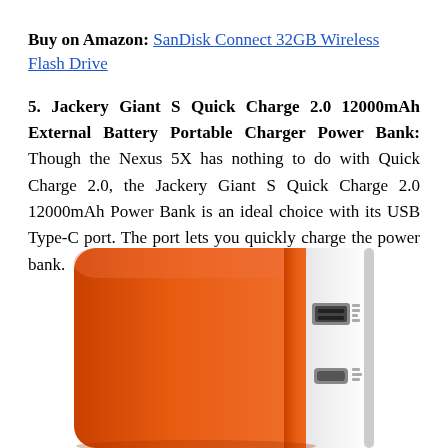Buy on Amazon: SanDisk Connect 32GB Wireless Flash Drive
5. Jackery Giant S Quick Charge 2.0 12000mAh External Battery Portable Charger Power Bank: Though the Nexus 5X has nothing to do with Quick Charge 2.0, the Jackery Giant S Quick Charge 2.0 12000mAh Power Bank is an ideal choice with its USB Type-C port. The port lets you quickly charge the power bank.
[Figure (photo): Photo of an orange and white Jackery Giant S Quick Charge 2.0 12000mAh power bank, showing the USB ports on the white side panel.]